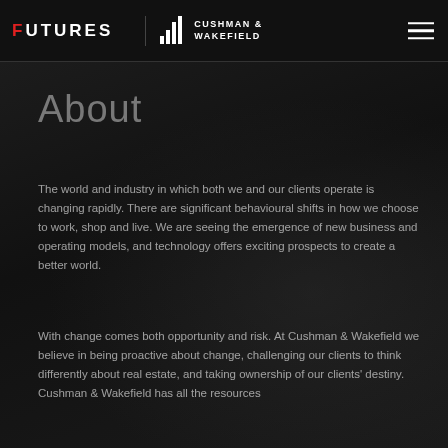FUTURES | CUSHMAN & WAKEFIELD
About
The world and industry in which both we and our clients operate is changing rapidly. There are significant behavioural shifts in how we choose to work, shop and live. We are seeing the emergence of new business and operating models, and technology offers exciting prospects to create a better world.
With change comes both opportunity and risk. At Cushman & Wakefield we believe in being proactive about change, challenging our clients to think differently about real estate, and taking ownership of our clients' destiny. Cushman & Wakefield has all the resources...